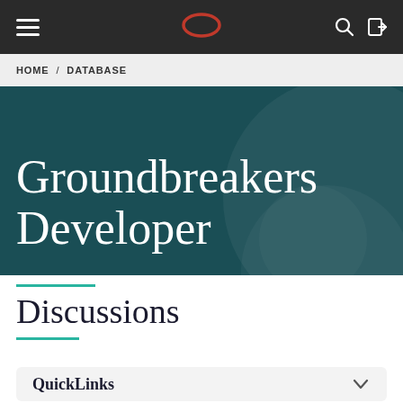Navigation bar with hamburger menu, Oracle logo, search and login icons
HOME / DATABASE
Groundbreakers Developer
Discussions
QuickLinks